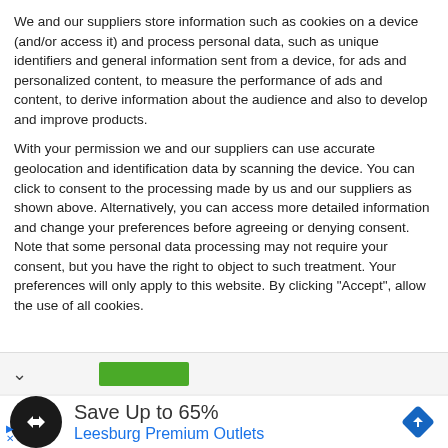We and our suppliers store information such as cookies on a device (and/or access it) and process personal data, such as unique identifiers and general information sent from a device, for ads and personalized content, to measure the performance of ads and content, to derive information about the audience and also to develop and improve products.
With your permission we and our suppliers can use accurate geolocation and identification data by scanning the device. You can click to consent to the processing made by us and our suppliers as shown above. Alternatively, you can access more detailed information and change your preferences before agreeing or denying consent. Note that some personal data processing may not require your consent, but you have the right to object to such treatment. Your preferences will only apply to this website. By clicking "Accept", allow the use of all cookies.
[Figure (screenshot): Bottom bar with a chevron down arrow on the left and a green button (Accept) on the right, followed by an advertisement for Leesburg Premium Outlets showing a black circular logo with a double-arrow symbol, headline 'Save Up to 65%', subline 'Leesburg Premium Outlets', and a blue navigation diamond icon on the right.]